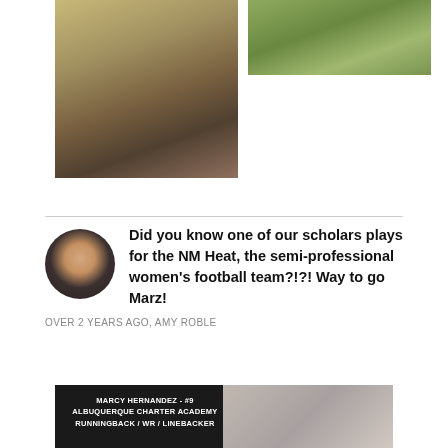[Figure (photo): Photo of dead leaves and dry brush on the ground near a wall, left side]
[Figure (photo): Photo of green grass and ground cover, top right]
Did you know one of our scholars plays for the NM Heat, the semi-professional women's football team?!?! Way to go Marz!
OVER 2 YEARS AGO, AMY ROBLE
[Figure (photo): Dark background image with white text reading MARCY HERNANDEZ - #9 / ALBUQUERQUE CHARTER ACADEMY / RUNNINGBACK / WR / LINEBACKER, with a photo of a person on the right side]